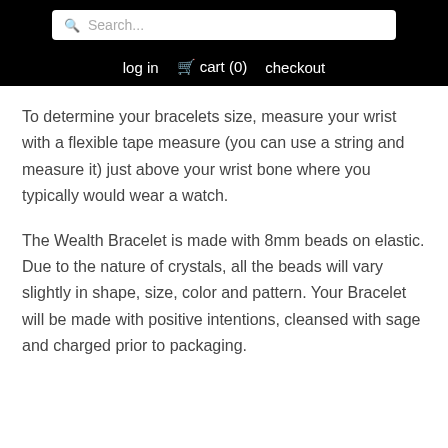Search... | log in | cart (0) | checkout
To determine your bracelets size, measure your wrist with a flexible tape measure (you can use a string and measure it) just above your wrist bone where you typically would wear a watch.
The Wealth Bracelet is made with 8mm beads on elastic. Due to the nature of crystals, all the beads will vary slightly in shape, size, color and pattern. Your Bracelet will be made with positive intentions, cleansed with sage and charged prior to packaging.